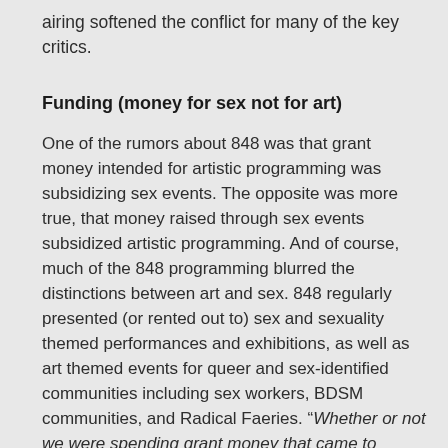airing softened the conflict for many of the key critics.
Funding (money for sex not for art)
One of the rumors about 848 was that grant money intended for artistic programming was subsidizing sex events. The opposite was more true, that money raised through sex events subsidized artistic programming. And of course, much of the 848 programming blurred the distinctions between art and sex. 848 regularly presented (or rented out to) sex and sexuality themed performances and exhibitions, as well as art themed events for queer and sex-identified communities including sex workers, BDSM communities, and Radical Faeries. “Whether or not we were spending grant money that came to support arts programming on sex